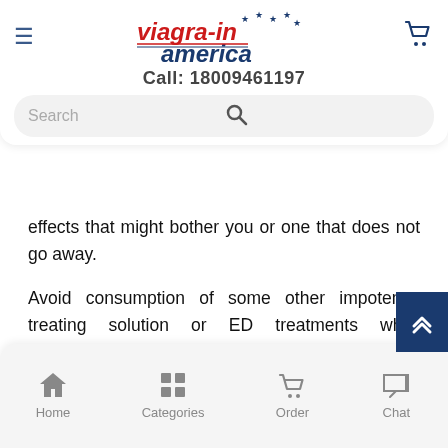viagra-in america | Call: 18009461197 | Search
effects that might bother you or one that does not go away.
Avoid consumption of some other impotence treating solution or ED treatments while consumption of Megalis by Macleods. Avoid consumption of alcohol while consuming the ED medicine composed of Tadalafil. Drinking too much alcohol can enhance the chances of getting a headache or getting dizzy, enhances the heart rate, or lowers blood pressure. The Tadalafil composed medicine makes the solution a weekend soluti… its longer lovemaking session. Medicine is to be consumed in
Home | Categories | Order | Chat